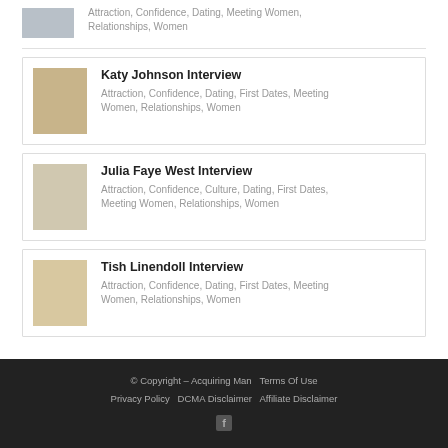Attraction, Confidence, Dating, Meeting Women, Relationships, Women
Katy Johnson Interview — Attraction, Confidence, Dating, First Dates, Meeting Women, Relationships, Women
Julia Faye West Interview — Attraction, Confidence, Culture, Dating, First Dates, Meeting Women, Relationships, Women
Tish Linendoll Interview — Attraction, Confidence, Dating, First Dates, Meeting Women, Relationships, Women
© Copyright – Acquiring Man   Terms Of Use   Privacy Policy   DCMA Disclaimer   Affiliate Disclaimer